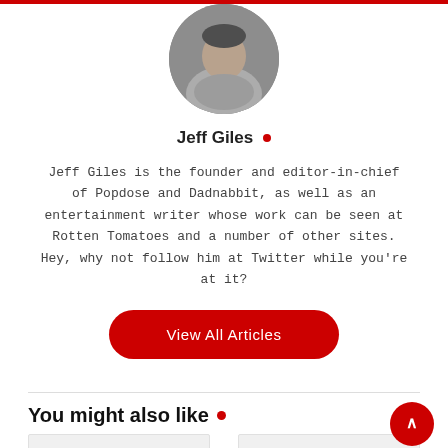[Figure (photo): Circular black and white profile photo of Jeff Giles]
Jeff Giles •
Jeff Giles is the founder and editor-in-chief of Popdose and Dadnabbit, as well as an entertainment writer whose work can be seen at Rotten Tomatoes and a number of other sites. Hey, why not follow him at Twitter while you're at it?
View All Articles
You might also like •